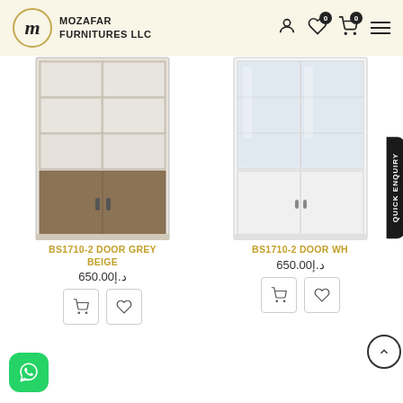Mozafar Furnitures LLC
[Figure (photo): BS1710-2 Door Grey Beige cabinet — tall wooden bookcase with open shelves on top and two solid doors on bottom, grey/beige finish]
BS1710-2 DOOR GREY BEIGE
د.إ650.00
[Figure (photo): BS1710-2 Door White cabinet — tall white bookcase with glass doors on top and two solid white doors on bottom]
BS1710-2 DOOR WHITE
د.إ650.00